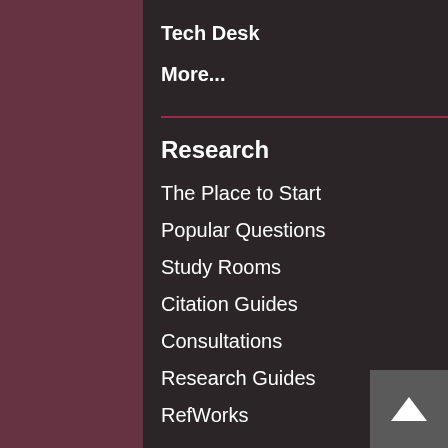Tech Desk
More...
Research
The Place to Start
Popular Questions
Study Rooms
Citation Guides
Consultations
Research Guides
RefWorks